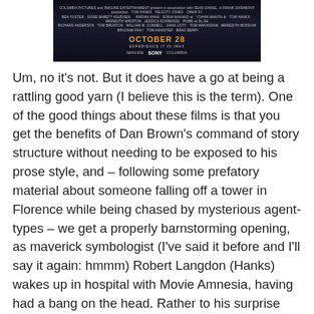[Figure (photo): Movie poster for a film (Inferno), dark background with credits text, date 'OCTOBER 28' in orange, 'EXPERIENCE IT IN IMAX' text, and Sony logo.]
Um, no it's not. But it does have a go at being a rattling good yarn (I believe this is the term). One of the good things about these films is that you get the benefits of Dan Brown's command of story structure without needing to be exposed to his prose style, and – following some prefatory material about someone falling off a tower in Florence while being chased by mysterious agent-types – we get a properly barnstorming opening, as maverick symbologist (I've said it before and I'll say it again: hmmm) Robert Langdon (Hanks) wakes up in hospital with Movie Amnesia, having had a bang on the head. Rather to his surprise Hanks finds he is in Florence.